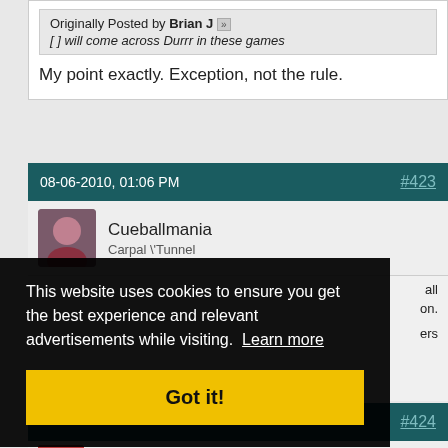Originally Posted by Brian J [»]
[ ] will come across Durrr in these games
My point exactly. Exception, not the rule.
08-06-2010, 01:06 PM  #423
Cueballmania
Carpal \Tunnel
all
on.
ers
This website uses cookies to ensure you get the best experience and relevant advertisements while visiting. Learn more
Got it!
#424
Brian J